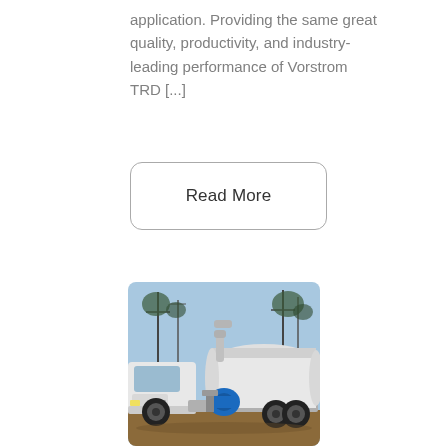application. Providing the same great quality, productivity, and industry-leading performance of Vorstrom TRD [...]
Read More
[Figure (photo): White truck with a large white cylindrical tank and blue pump/motor unit mounted on it, parked on dirt ground with utility poles and trees in background against a blue sky.]